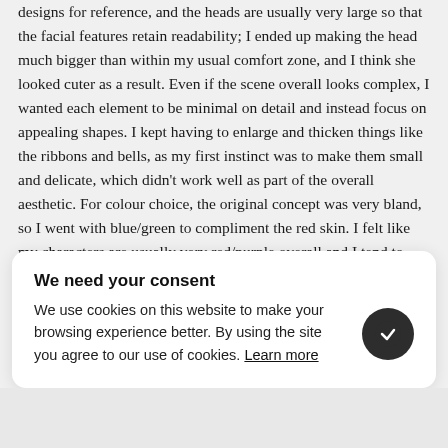designs for reference, and the heads are usually very large so that the facial features retain readability; I ended up making the head much bigger than within my usual comfort zone, and I think she looked cuter as a result. Even if the scene overall looks complex, I wanted each element to be minimal on detail and instead focus on appealing shapes. I kept having to enlarge and thicken things like the ribbons and bells, as my first instinct was to make them small and delicate, which didn't work well as part of the overall aesthetic. For colour choice, the original concept was very bland, so I went with blue/green to compliment the red skin. I felt like my characters are usually very red/purple overall and I tend to stray away from using cool tones, so I tried to be aware of that and consciously take a .
[Figure (screenshot): Cookie consent overlay banner with title 'We need your consent', body text about cookie usage, a 'Learn more' link, and a dark circular button with a checkmark/arrow icon]